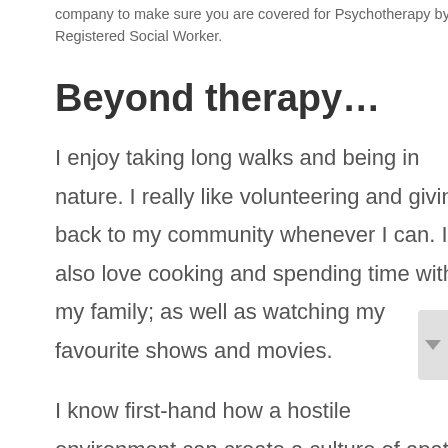company to make sure you are covered for Psychotherapy by a Registered Social Worker.
Beyond therapy…
I enjoy taking long walks and being in nature. I really like volunteering and giving back to my community whenever I can. I also love cooking and spending time with my family; as well as watching my favourite shows and movies.
I know first-hand how a hostile environment can create a culture of apathy and anger. I also know how people can be extremely